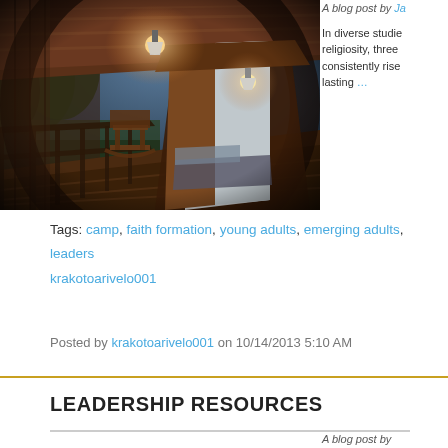[Figure (photo): Fisheye or wide-angle photo of a wooden cabin porch at dusk, with an open door showing the interior with a lit ceiling lamp, a wooden rocking chair on the porch, and trees visible in the background under a darkening sky.]
A blog post by Ja...
In diverse studie... religiosity, three... consistently rise... lasting ...
Tags: camp, faith formation, young adults, emerging adults, leaders... krakotoarivelo001
Posted by krakotoarivelo001 on 10/14/2013 5:10 AM
LEADERSHIP RESOURCES
A blog post by